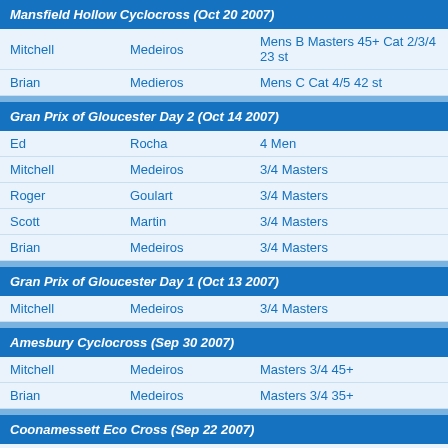Mansfield Hollow Cyclocross (Oct 20 2007)
| First | Last | Category |
| --- | --- | --- |
| Mitchell | Medeiros | Mens B Masters 45+ Cat 2/3/4 23 st |
| Brian | Medieros | Mens C Cat 4/5 42 st |
Gran Prix of Gloucester Day 2 (Oct 14 2007)
| First | Last | Category |
| --- | --- | --- |
| Ed | Rocha | 4 Men |
| Mitchell | Medeiros | 3/4 Masters |
| Roger | Goulart | 3/4 Masters |
| Scott | Martin | 3/4 Masters |
| Brian | Medeiros | 3/4 Masters |
Gran Prix of Gloucester Day 1 (Oct 13 2007)
| First | Last | Category |
| --- | --- | --- |
| Mitchell | Medeiros | 3/4 Masters |
Amesbury Cyclocross (Sep 30 2007)
| First | Last | Category |
| --- | --- | --- |
| Mitchell | Medeiros | Masters 3/4 45+ |
| Brian | Medeiros | Masters 3/4 35+ |
Coonamessett Eco Cross (Sep 22 2007)
| First | Last | Category |
| --- | --- | --- |
| Roger | Goulart | Masters 35+ |